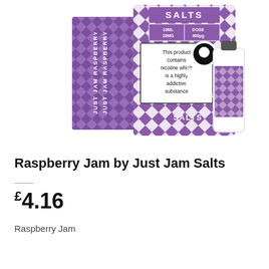[Figure (photo): Product photo of Just Jam Raspberry Salts nicotine salt e-liquid box and bottle. Purple and white diamond/harlequin pattern packaging. Box shows 'SALTS', '10ML 10MG', 'DOSE 400μg', warning text 'This product contains nicotine which is a highly addictive substance', and 'JUST JAM RASPBERRY SALTS' branding on the front. Side of box shows 'JUST JAM RASPBERRY' text vertically. A small bottle is visible to the right.]
Raspberry Jam by Just Jam Salts
£4.16
Raspberry Jam